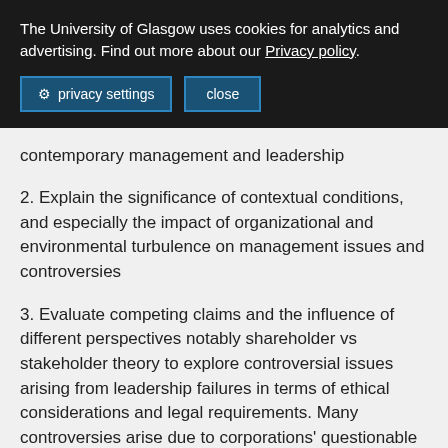The University of Glasgow uses cookies for analytics and advertising. Find out more about our Privacy policy.
privacy settings | close
contemporary management and leadership
2. Explain the significance of contextual conditions, and especially the impact of organizational and environmental turbulence on management issues and controversies
3. Evaluate competing claims and the influence of different perspectives notably shareholder vs stakeholder theory to explore controversial issues arising from leadership failures in terms of ethical considerations and legal requirements. Many controversies arise due to corporations' questionable